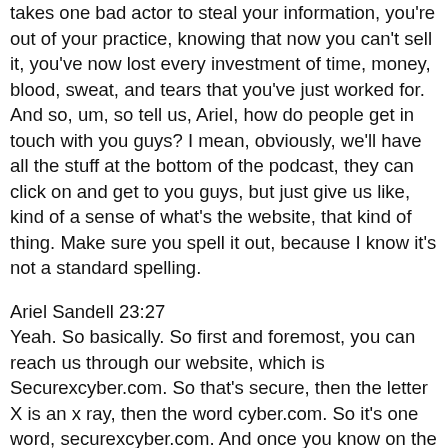takes one bad actor to steal your information, you're out of your practice, knowing that now you can't sell it, you've now lost every investment of time, money, blood, sweat, and tears that you've just worked for. And so, um, so tell us, Ariel, how do people get in touch with you guys? I mean, obviously, we'll have all the stuff at the bottom of the podcast, they can click on and get to you guys, but just give us like, kind of a sense of what's the website, that kind of thing. Make sure you spell it out, because I know it's not a standard spelling.
Ariel Sandell 23:27
Yeah. So basically. So first and foremost, you can reach us through our website, which is Securexcyber.com. So that's secure, then the letter X is an x ray, then the word cyber.com. So it's one word, securexcyber.com. And once you know on the website, there's various resources for you know, accountants, and contact links, that we encourage people to schedule with your VA, we offer Calendly links, where they could schedule on their own convenience, kind of best to speak to us, they could